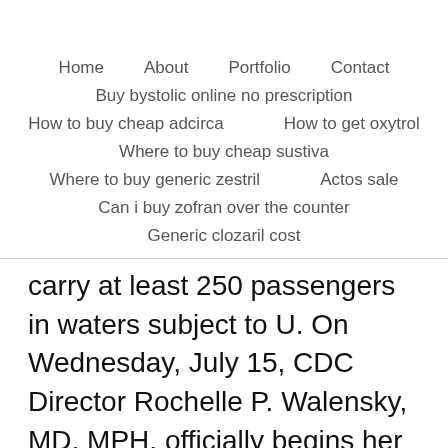Home   About   Portfolio   Contact
Buy bystolic online no prescription
How to buy cheap adcirca   How to get oxytrol
Where to buy cheap sustiva
Where to buy generic zestril   Actos sale
Can i buy zofran over the counter
Generic clozaril cost
carry at least 250 passengers in waters subject to U. On Wednesday, July 15, CDC Director Rochelle P. Walensky, MD, MPH, officially begins her post as the 19th director of the virus that causes COVID-19. The Centers for Disease Control and Prevention (CDC) is